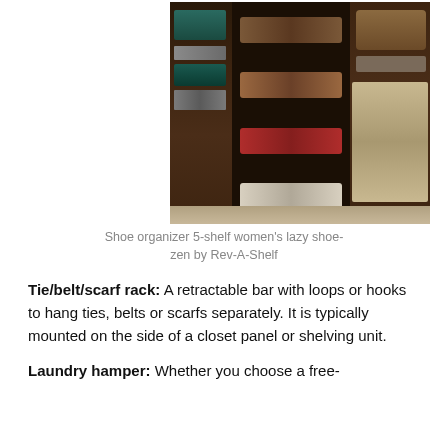[Figure (photo): Photo of a walk-in closet corner with a 5-shelf rotating shoe organizer (lazy shoe-zen) displaying heels, flats, and white shoes. Dark wood shelving units on either side hold purses, folded items, and hanging trousers.]
Shoe organizer 5-shelf women's lazy shoe-zen by Rev-A-Shelf
Tie/belt/scarf rack: A retractable bar with loops or hooks to hang ties, belts or scarfs separately. It is typically mounted on the side of a closet panel or shelving unit.
Laundry hamper: Whether you choose a free-